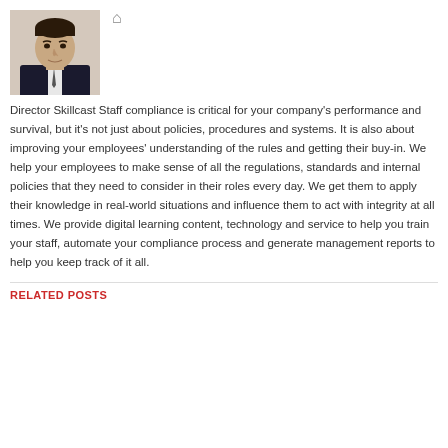[Figure (photo): Headshot photo of a man in a dark suit against a light background]
Director Skillcast Staff compliance is critical for your company's performance and survival, but it's not just about policies, procedures and systems. It is also about improving your employees' understanding of the rules and getting their buy-in. We help your employees to make sense of all the regulations, standards and internal policies that they need to consider in their roles every day. We get them to apply their knowledge in real-world situations and influence them to act with integrity at all times. We provide digital learning content, technology and service to help you train your staff, automate your compliance process and generate management reports to help you keep track of it all.
RELATED POSTS